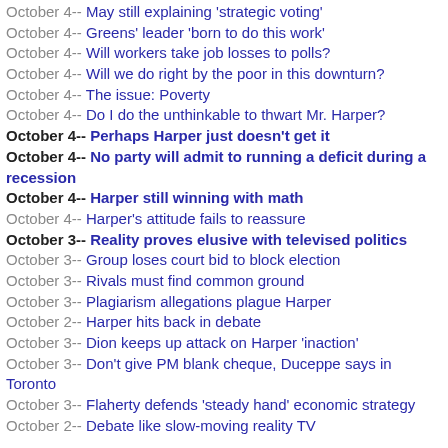October 4-- May still explaining 'strategic voting'
October 4-- Greens' leader 'born to do this work'
October 4-- Will workers take job losses to polls?
October 4-- Will we do right by the poor in this downturn?
October 4-- The issue: Poverty
October 4-- Do I do the unthinkable to thwart Mr. Harper?
October 4-- Perhaps Harper just doesn't get it
October 4-- No party will admit to running a deficit during a recession
October 4-- Harper still winning with math
October 4-- Harper's attitude fails to reassure
October 3-- Reality proves elusive with televised politics
October 3-- Group loses court bid to block election
October 3-- Rivals must find common ground
October 3-- Plagiarism allegations plague Harper
October 2-- Harper hits back in debate
October 3-- Dion keeps up attack on Harper 'inaction'
October 3-- Don't give PM blank cheque, Duceppe says in Toronto
October 3-- Flaherty defends 'steady hand' economic strategy
October 2-- Debate like slow-moving reality TV